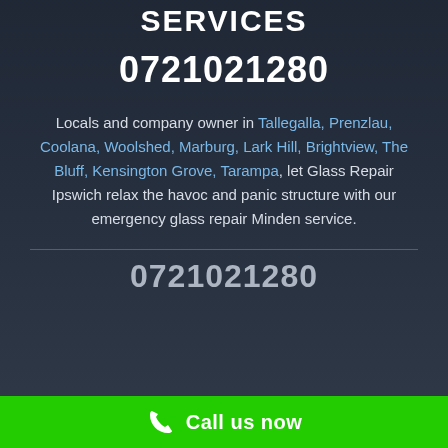SERVICES
0721021280
Locals and company owner in Tallegalla, Prenzlau, Coolana, Woolshed, Marburg, Lark Hill, Brightview, The Bluff, Kensington Grove, Tarampa, let Glass Repair Ipswich relax the havoc and panic structure with our emergency glass repair Minden service.
0721021280
Call us now